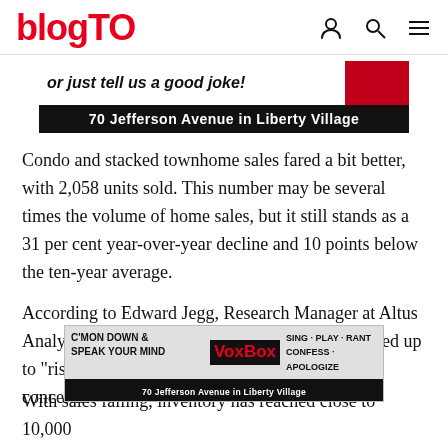blogTO
[Figure (other): Advertisement banner for 70 Jefferson Avenue in Liberty Village with text 'or just tell us a good joke!']
Condo and stacked townhome sales fared a bit better, with 2,058 units sold. This number may be several times the volume of home sales, but it still stands as a 31 per cent year-over-year decline and 10 points below the ten-year average.
According to Edward Jegg, Research Manager at Altus Analytics, the easing of sales in May can be chalked up to "rising mortgage rates and growing economic concerns."
[Figure (other): Advertisement banner for VoxBox at 70 Jefferson Avenue in Liberty Village - C'MON DOWN & SPEAK YOUR MIND, SING·PLAY·RANT CONFESS·APOLOGIZE]
With sales falling, inventory has reached close to 10,000